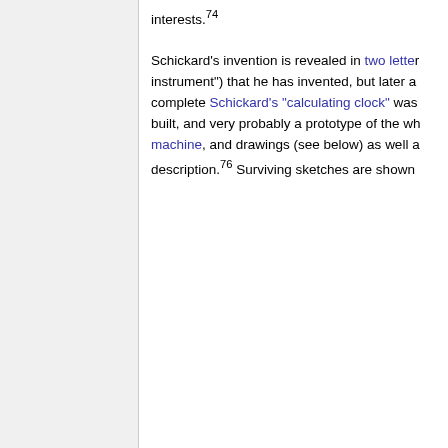interests.²74 Schickard’s invention is revealed in two letters instrument”) that he has invented, but later a complete Schickard’s “calculating clock” was built, and very probably a prototype of the whole machine, and drawings (see below) as well as a description.²76 Surviving sketches are shown